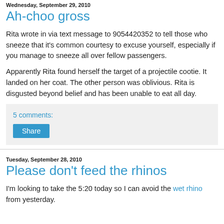Wednesday, September 29, 2010
Ah-choo gross
Rita wrote in via text message to 9054420352 to tell those who sneeze that it's common courtesy to excuse yourself, especially if you manage to sneeze all over fellow passengers.
Apparently Rita found herself the target of a projectile cootie. It landed on her coat. The other person was oblivious. Rita is disgusted beyond belief and has been unable to eat all day.
5 comments:
Tuesday, September 28, 2010
Please don't feed the rhinos
I'm looking to take the 5:20 today so I can avoid the wet rhino from yesterday.